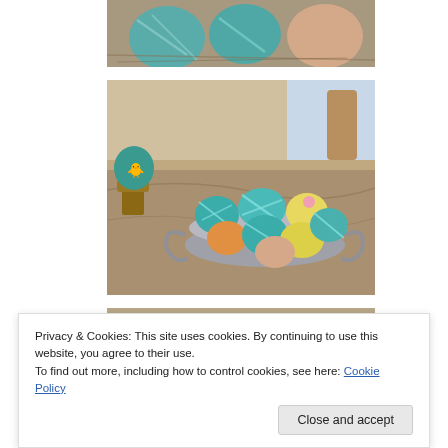[Figure (photo): Partial view of colored Easter eggs in a nest, including teal and peach colored eggs.]
[Figure (photo): Colorful dyed Easter eggs in a silver bowl on a marble table, with a teal egg in an egg cup to the left.]
[Figure (photo): Partial view of a plate with food items, partially obscured by cookie consent banner.]
Privacy & Cookies: This site uses cookies. By continuing to use this website, you agree to their use.
To find out more, including how to control cookies, see here: Cookie Policy
[Figure (photo): Bottom portion of a plate with food, visible below the cookie banner.]